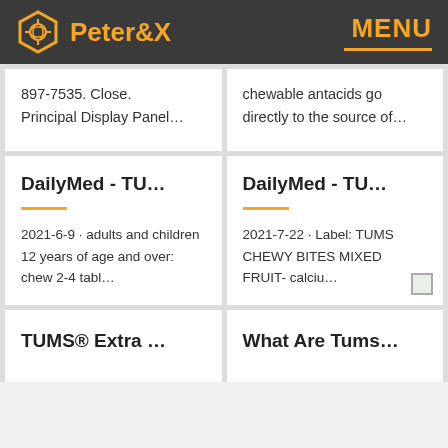Peter&X  MENU
897-7535. Close. Principal Display Panel…
chewable antacids go directly to the source of…
DailyMed - TU…
2021-6-9 · adults and children 12 years of age and over: chew 2-4 tabl…
DailyMed - TU…
2021-7-22 · Label: TUMS CHEWY BITES MIXED FRUIT- calciu…
TUMS® Extra …
What Are Tums…